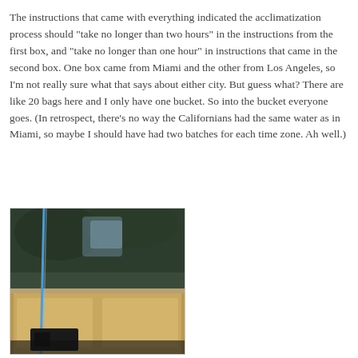The instructions that came with everything indicated the acclimatization process should "take no longer than two hours" in the instructions from the first box, and "take no longer than one hour" in instructions that came in the second box. One box came from Miami and the other from Los Angeles, so I'm not really sure what that says about either city. But guess what? There are like 20 bags here and I only have one bucket. So into the bucket everyone goes. (In retrospect, there's no way the Californians had the same water as in Miami, so maybe I should have had two batches for each time zone. Ah well.)
[Figure (photo): A photo showing what appears to be a wooden cabinet or aquarium stand with a blue tube/hose running along it, glass visible in the background with outdoor foliage visible through it.]